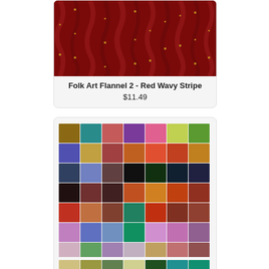[Figure (photo): Red wavy stripe flannel fabric with golden thread details on dark red background]
Folk Art Flannel 2 - Red Wavy Stripe
$11.49
[Figure (illustration): A large grid of fabric color swatches showing many multicolored batik/tie-dye style fabric samples in various colors including blues, reds, greens, purples, oranges, and earth tones]